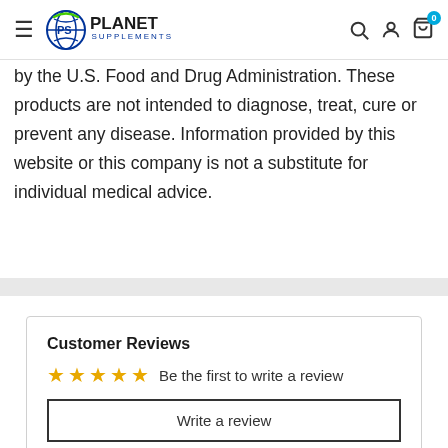Planet Supplements navigation bar with logo, search, account, and cart (0 items)
by the U.S. Food and Drug Administration. These products are not intended to diagnose, treat, cure or prevent any disease. Information provided by this website or this company is not a substitute for individual medical advice.
Customer Reviews
☆☆☆☆☆ Be the first to write a review
Write a review